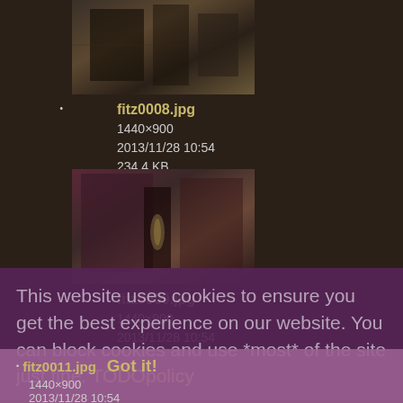[Figure (photo): Thumbnail image of an interior scene (fitz0008.jpg)]
fitz0008.jpg
1440×900
2013/11/28 10:54
234.4 KB
[Figure (photo): Thumbnail image of an interior scene with lantern (fitz0009.jpg)]
fitz0009.jpg
1440×900
2013/11/28 10:54
253.3 KB
This website uses cookies to ensure you get the best experience on our website. You can block cookies and use *most* of the site just fine. TODOpolicy
[Figure (photo): Thumbnail image of a dark interior scene (fitz0011.jpg)]
fitz0011.jpg
1440×900
2013/11/28 10:54
Got it!